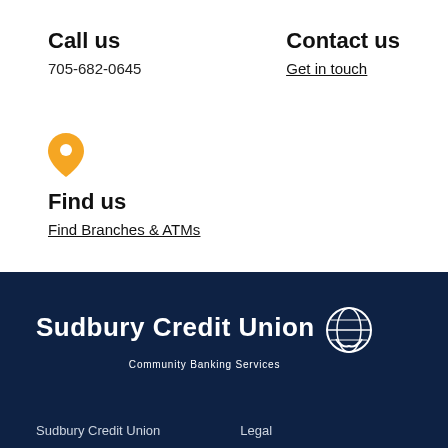Call us
705-682-0645
Contact us
Get in touch
[Figure (illustration): Orange map pin / location icon]
Find us
Find Branches & ATMs
[Figure (logo): Sudbury Credit Union logo with globe/hands icon and tagline 'Community Banking Services' on dark navy background]
Sudbury Credit Union    Legal